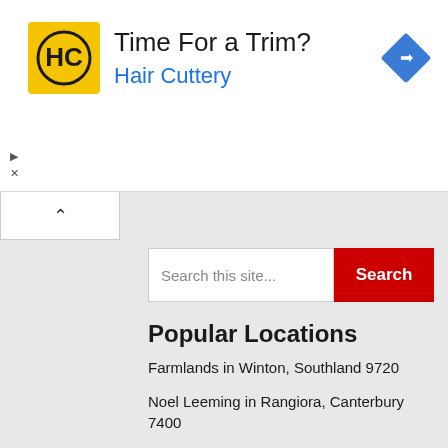[Figure (logo): Hair Cuttery advertisement banner with HC logo, text 'Time For a Trim?' and 'Hair Cuttery' in blue, and a blue navigation diamond icon on the right]
[Figure (screenshot): Search bar with placeholder 'Search this site...' and a red Search button]
Popular Locations
Farmlands in Winton, Southland 9720
Noel Leeming in Rangiora, Canterbury 7400
Smiths City in Alexandra, Otago 9320
PAK'nSAVE in South Dunedin, Dunedin 9012